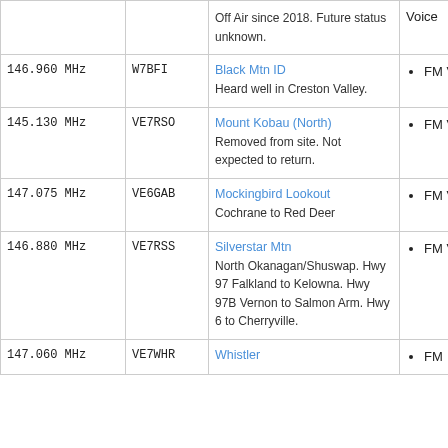| Frequency | Callsign | Name / Description | Mode |
| --- | --- | --- | --- |
|  |  | Off Air since 2018. Future status unknown. | Voice |
| 146.960 MHz | W7BFI | Black Mtn ID
Heard well in Creston Valley. | FM Voice |
| 145.130 MHz | VE7RSO | Mount Kobau (North)
Removed from site. Not expected to return. | FM Voice |
| 147.075 MHz | VE6GAB | Mockingbird Lookout
Cochrane to Red Deer | FM Voice |
| 146.880 MHz | VE7RSS | Silverstar Mtn
North Okanagan/Shuswap. Hwy 97 Falkland to Kelowna. Hwy 97B Vernon to Salmon Arm. Hwy 6 to Cherryville. | FM Voice |
| 147.060 MHz | VE7WHR | Whistler | FM |